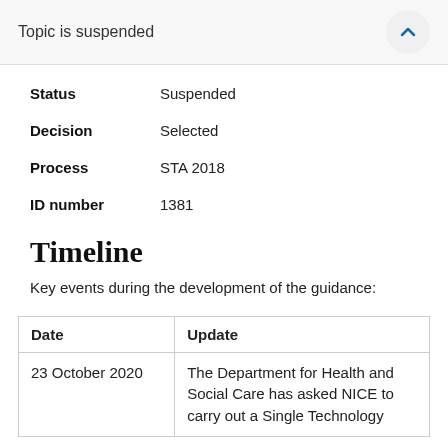Topic is suspended
Status   Suspended
Decision   Selected
Process   STA 2018
ID number   1381
Timeline
Key events during the development of the guidance:
| Date | Update |
| --- | --- |
| 23 October 2020 | The Department for Health and Social Care has asked NICE to carry out a Single Technology |